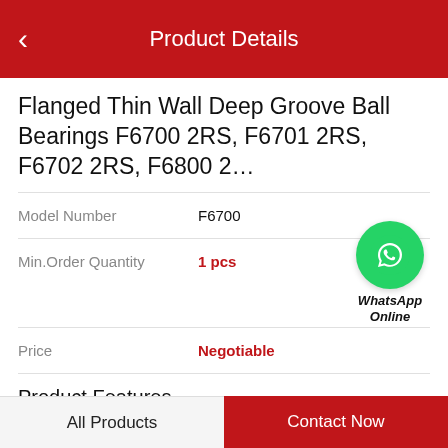Product Details
Flanged Thin Wall Deep Groove Ball Bearings F6700 2RS, F6701 2RS, F6702 2RS, F6800 2…
Model Number: F6700
Min.Order Quantity: 1 pcs
Price: Negotiable
[Figure (logo): WhatsApp Online green phone icon with text 'WhatsApp Online']
Product Features
| No. | Brand | S | G | r | T |
| --- | --- | --- | --- | --- | --- |
| 6322. | - | - | - | - | - |
All Products | Contact Now